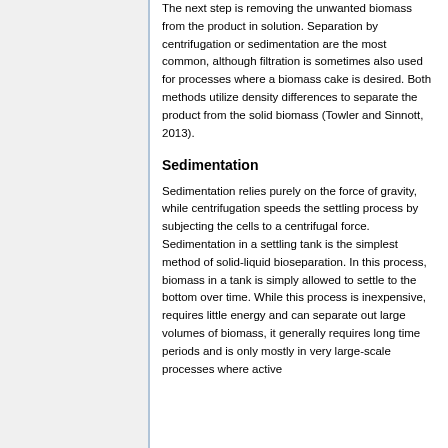The next step is removing the unwanted biomass from the product in solution. Separation by centrifugation or sedimentation are the most common, although filtration is sometimes also used for processes where a biomass cake is desired. Both methods utilize density differences to separate the product from the solid biomass (Towler and Sinnott, 2013).
Sedimentation
Sedimentation relies purely on the force of gravity, while centrifugation speeds the settling process by subjecting the cells to a centrifugal force. Sedimentation in a settling tank is the simplest method of solid-liquid bioseparation. In this process, biomass in a tank is simply allowed to settle to the bottom over time. While this process is inexpensive, requires little energy and can separate out large volumes of biomass, it generally requires long time periods and is only mostly in very large-scale processes where active